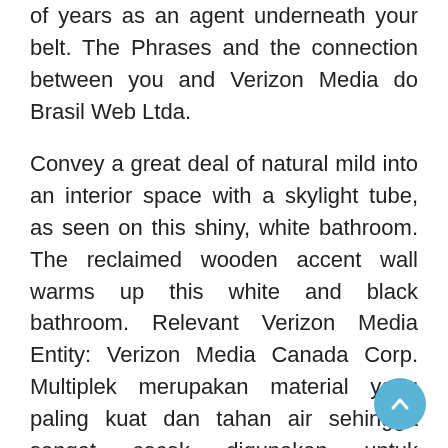of years as an agent underneath your belt. The Phrases and the connection between you and Verizon Media do Brasil Web Ltda.
Convey a great deal of natural mild into an interior space with a skylight tube, as seen on this shiny, white bathroom. The reclaimed wooden accent wall warms up this white and black bathroom. Relevant Verizon Media Entity: Verizon Media Canada Corp. Multiplek merupakan material yang paling kuat dan tahan air sehingga sangat cocok digunakan untuk pembuatan kitchen set yang sering digunakan untuk dapur basah.